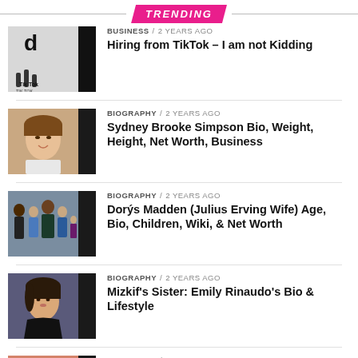TRENDING
[Figure (photo): TikTok logo thumbnail]
BUSINESS / 2 years ago
Hiring from TikTok – I am not Kidding
[Figure (photo): Sydney Brooke Simpson portrait thumbnail]
BIOGRAPHY / 2 years ago
Sydney Brooke Simpson Bio, Weight, Height, Net Worth, Business
[Figure (photo): Dorys Madden group photo thumbnail]
BIOGRAPHY / 2 years ago
Dorýs Madden (Julius Erving Wife) Age, Bio, Children, Wiki, & Net Worth
[Figure (photo): Mizkif's sister Emily Rinaudo portrait thumbnail]
BIOGRAPHY / 2 years ago
Mizkif's Sister: Emily Rinaudo's Bio & Lifestyle
[Figure (photo): Chris Potoski portrait thumbnail]
BIOGRAPHY / 2 years ago
Chris Potoski News: Bio- Wiki